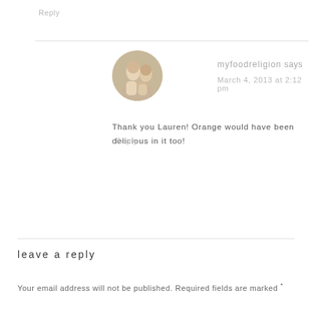Reply
myfoodreligion says
March 4, 2013 at 2:12 pm
Thank you Lauren! Orange would have been delicious in it too!
Reply
leave a reply
Your email address will not be published. Required fields are marked *